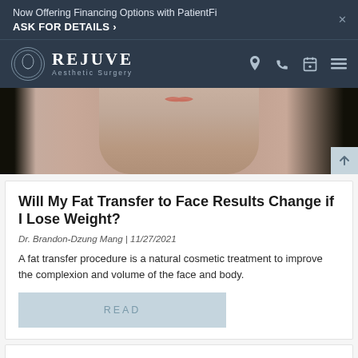Now Offering Financing Options with PatientFi ASK FOR DETAILS >
[Figure (logo): Rejuve Aesthetic Surgery logo with circular icon and navigation icons (location, phone, calendar, menu)]
[Figure (photo): Close-up photo of a woman's lower face showing lips and dark hair on both sides]
Will My Fat Transfer to Face Results Change if I Lose Weight?
Dr. Brandon-Dzung Mang | 11/27/2021
A fat transfer procedure is a natural cosmetic treatment to improve the complexion and volume of the face and body.
READ